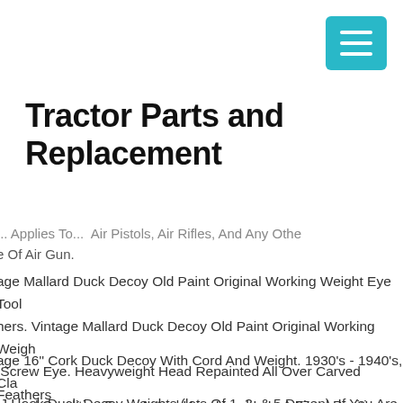[Figure (other): Teal/cyan hamburger menu button icon in top right corner]
Tractor Parts and Replacement
... Applies To... Air Pistols, Air Rifles, And Any Other Type Of Air Gun.
age Mallard Duck Decoy Old Paint Original Working Weight Eye Tool hers. Vintage Mallard Duck Decoy Old Paint Original Working Weigh Screw Eye. Heavyweight Head Repainted All Over Carved Feathers l Weight On Base Screw Eye For Tether Traces Of White Paint To Ba Additional Info Or Photos Text Head Appears A Repainted 14 Inches
age 16" Cork Duck Decoy With Cord And Weight. 1930's - 1940's, Cla ressed Condition From Actual Use. Head Is In A Fixed Position. Sits R Rusted Steel Weight. Beautiful Display Collectable.
J Hook Duck Decoy Weights (lots Of 1, 3, & 5 Dozen). If You Are rested In Other Products Check Out Gerber Decoy Rigs. 8 Oz Lead J